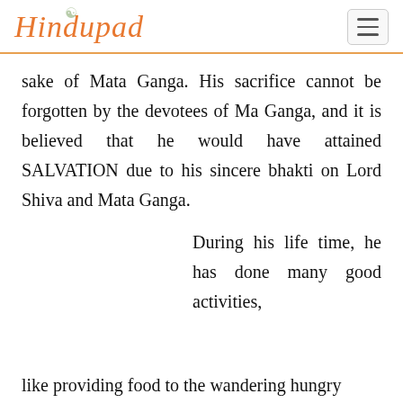Hindupad
sake of Mata Ganga. His sacrifice cannot be forgotten by the devotees of Ma Ganga, and it is believed that he would have attained SALVATION due to his sincere bhakti on Lord Shiva and Mata Ganga.
During his life time, he has done many good activities,
like providing food to the wandering hungry